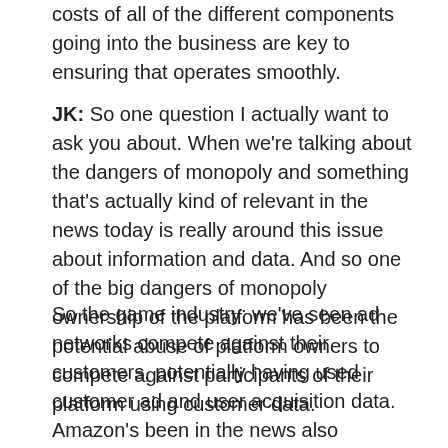costs of all of the different components going into the business are key to ensuring that operates smoothly.
JK: So one question I actually want to ask you about. When we're talking about the dangers of monopoly and something that's actually kind of relevant in the news today is really around this issue about information and data. And so one of the big dangers of monopoly ownership of the platform has been the potential abuse of platform owners to compete against participants of their platform using customer data.
So the game industry: we've seen ad networks compete against their customers, potentially having used customer ad and user acquisition data. Amazon's been in the news also reportedly having used customer data to compete both from its sort of corporate venture fund as well as using seller data to compete against those sellers